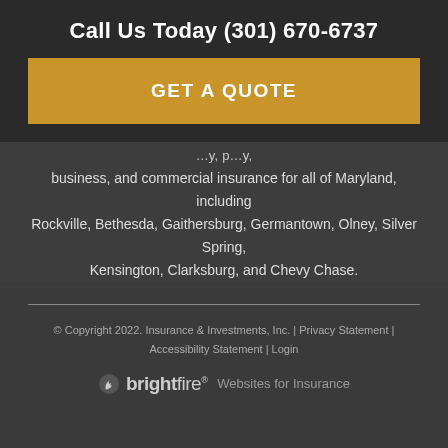Call Us Today (301) 670-6737
GET A QUOTE
business, and commercial insurance for all of Maryland, including Rockville, Bethesda, Gaithersburg, Germantown, Olney, Silver Spring, Kensington, Clarksburg, and Chevy Chase.
© Copyright 2022. Insurance & Investments, Inc. | Privacy Statement | Accessibility Statement | Login
[Figure (logo): BrightFire logo with text 'Websites for Insurance']